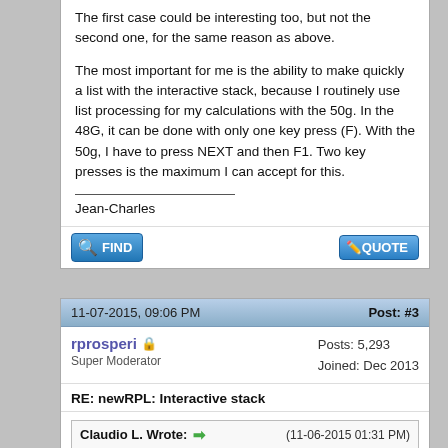The first case could be interesting too, but not the second one, for the same reason as above.
The most important for me is the ability to make quickly a list with the interactive stack, because I routinely use list processing for my calculations with the 50g. In the 48G, it can be done with only one key press (F). With the 50g, I have to press NEXT and then F1. Two key presses is the maximum I can accept for this.
Jean-Charles
11-07-2015, 09:06 PM
Post: #3
rprosperi
Super Moderator
Posts: 5,293
Joined: Dec 2013
RE: newRPL: Interactive stack
Claudio L. Wrote:
(11-06-2015 01:31 PM)
What are the features that would be most desirable for the interactive stack?
The interactive stack will be activated pressing cursor up, same